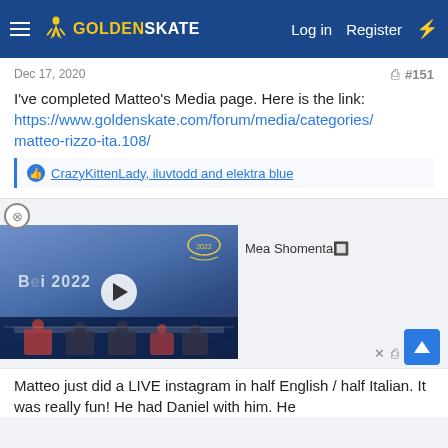GoldenSkate — Log in  Register
Dec 17, 2020  #151
I've completed Matteo's Media page. Here is the link: https://www.goldenskate.com/forum/media/categories/matteo-rizzo-ita.108/
CrazyKittenLady, iluvtodd and elektra blue
[Figure (screenshot): Video thumbnail showing Beijing 2022 press conference with play button overlay, next to username Mea Shomenta]
Mea Shomenta🔲
#152
Matteo just did a LIVE instagram in half English / half Italian. It was really fun! He had Daniel with him. He